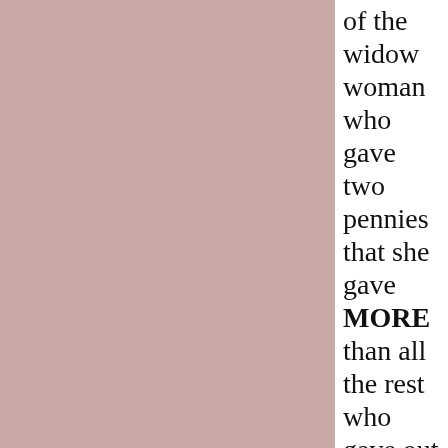[Figure (illustration): Large dusty rose/mauve colored rectangular block occupying the left two-thirds of the page]
of the widow woman who gave two pennies that she gave MORE than all the rest who gave out of their INCREASE because she gave